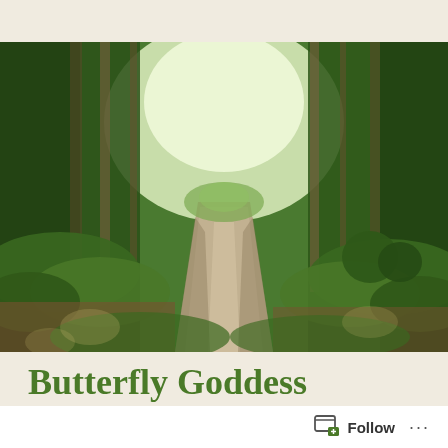[Figure (photo): A sunlit garden path lined with lush green trees and shrubs, receding into the distance with dappled light and rich foliage on both sides.]
Butterfly Goddess Perspective
Don't go to your strength. There is